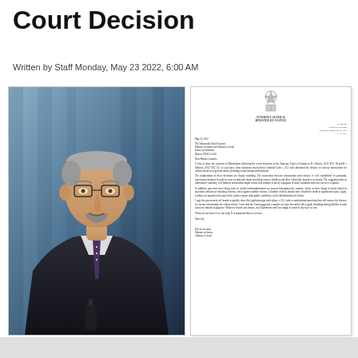Court Decision
Written by Staff Monday, May 23 2022, 6:00 AM
[Figure (photo): Photo of a middle-aged man in a dark suit and tie, with glasses and a salt-and-pepper beard, standing in front of a blue curtain background with a microphone visible.]
[Figure (photo): Image of an official government letter on Manitoba Attorney General / Minister of Justice letterhead, dated May 20, 2022, addressed to The Honourable David Lametti, Minister of Justice and Attorney General, House of Commons, Ottawa, ON. The letter discusses Manitoba's concern following Supreme Court of Canada decisions in R v Brown and R v Sullivan, 2022 SCC 18 and 19, which struck down Criminal Code s. 33.1 relating to the defence of extreme intoxication for violent offences of general intent. Signed by Kelvin Goertzen, Minister of Justice, Attorney General.]